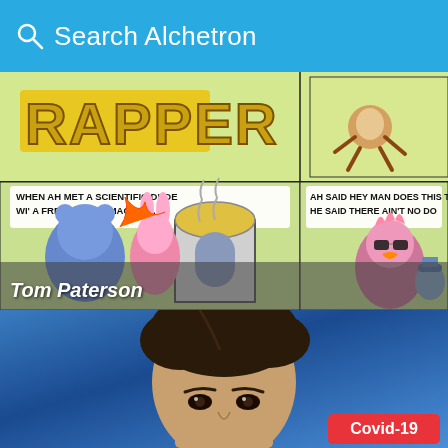Search Alchetron
[Figure (illustration): Comic strip panel showing cartoon characters including a rabbit and bear near a time machine. Text reads 'RAPPER', 'WHEN AH MET A SCIENTIFIC DUDE WI' A FREAKY TIME-MACHINE,' and 'AH SAID HEY MAN DOES THIS THING HE SAID THERE AIN'T NO DO'. Caption overlay reads 'Tom Paterson'.]
Tom Paterson
[Figure (photo): Close-up photo of a woman's face with dark hair against a blue background. A red badge in the bottom right reads 'Covid-19'.]